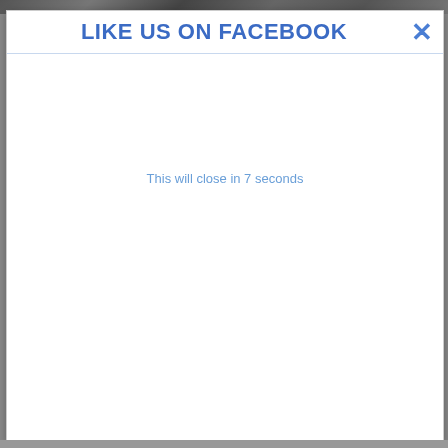[Figure (screenshot): Dark textured/patterned image strip at the top of the page, partially visible behind popup]
LIKE US ON FACEBOOK ✕
This will close in 7 seconds